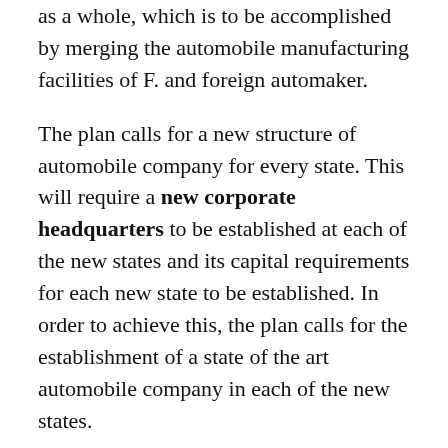as a whole, which is to be accomplished by merging the automobile manufacturing facilities of F. and foreign automaker.
The plan calls for a new structure of automobile company for every state. This will require a new corporate headquarters to be established at each of the new states and its capital requirements for each new state to be established. In order to achieve this, the plan calls for the establishment of a state of the art automobile company in each of the new states.
The plan calls for a restructuring of